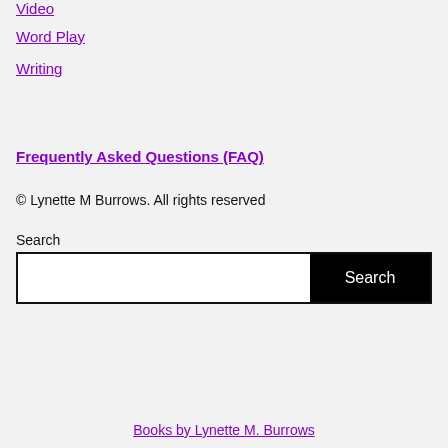Video
Word Play
Writing
Frequently Asked Questions (FAQ)
© Lynette M Burrows. All rights reserved
Search
Books by Lynette M. Burrows